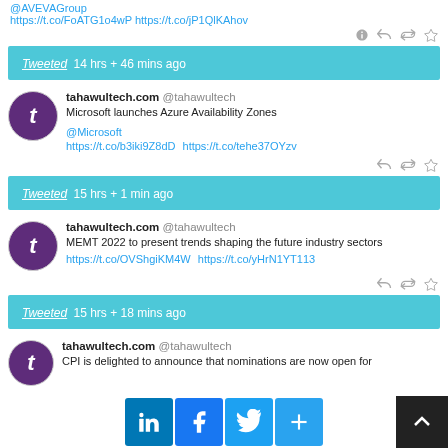@AVEVAGroup https://t.co/FoATG1o4wP https://t.co/jP1QlKAhov
[Figure (screenshot): Tweet action icons: reply, retweet, favorite]
Tweeted 14 hrs + 46 mins ago
[Figure (photo): tahawultech.com profile avatar - purple circle with letter t]
tahawultech.com @tahawultech
Microsoft launches Azure Availability Zones
@Microsoft
https://t.co/b3iki9Z8dD https://t.co/tehe37OYzv
[Figure (screenshot): Tweet action icons: reply, retweet, favorite]
Tweeted 15 hrs + 1 min ago
[Figure (photo): tahawultech.com profile avatar - purple circle with letter t]
tahawultech.com @tahawultech
MEMT 2022 to present trends shaping the future industry sectors
https://t.co/OVShgiKM4W https://t.co/yHrN1YT113
[Figure (screenshot): Tweet action icons: reply, retweet, favorite]
Tweeted 15 hrs + 18 mins ago
[Figure (photo): tahawultech.com profile avatar - purple circle with letter t]
tahawultech.com @tahawultech
CPI is delighted to announce that nominations are now open for
[Figure (infographic): Social share footer bar with LinkedIn, Facebook, Twitter, and More (+) buttons, and a scroll-to-top button]